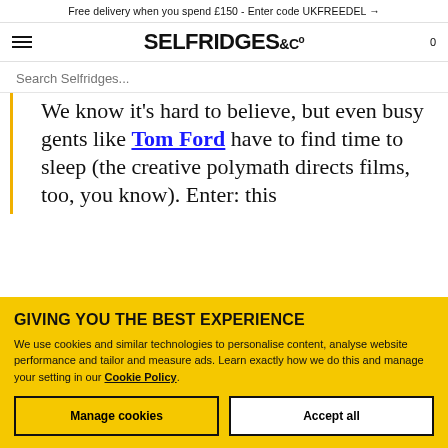Free delivery when you spend £150 - Enter code UKFREEDEL →
SELFRIDGES &Co  0
Search Selfridges...
We know it's hard to believe, but even busy gents like Tom Ford have to find time to sleep (the creative polymath directs films, too, you know). Enter: this
GIVING YOU THE BEST EXPERIENCE
We use cookies and similar technologies to personalise content, analyse website performance and tailor and measure ads. Learn exactly how we do this and manage your setting in our Cookie Policy.
Manage cookies
Accept all